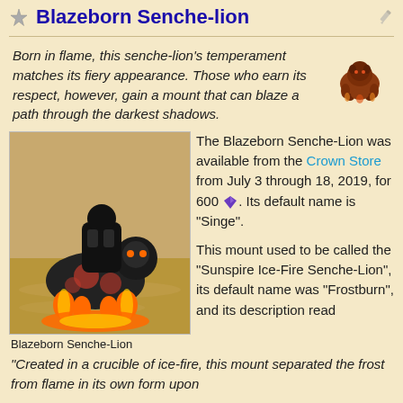Blazeborn Senche-lion
Born in flame, this senche-lion's temperament matches its fiery appearance. Those who earn its respect, however, gain a mount that can blaze a path through the darkest shadows.
[Figure (photo): Blazeborn Senche-Lion with a rider in dark armor, the lion has fiery red and orange markings and flames at its feet, set against a sandy desert background.]
Blazeborn Senche-Lion
The Blazeborn Senche-Lion was available from the Crown Store from July 3 through 18, 2019, for 600 [gem icon]. Its default name is "Singe".
This mount used to be called the "Sunspire Ice-Fire Senche-Lion", its default name was "Frostburn", and its description read "Created in a crucible of ice-fire, this mount separated the frost from flame in its own form upon